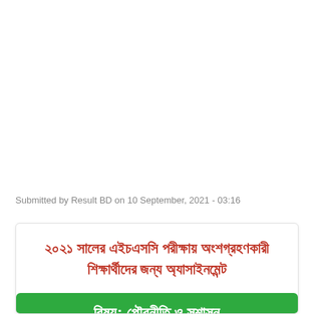Submitted by Result BD on 10 September, 2021 - 03:16
২০২১ সালের এইচএসসি পরীক্ষায় অংশগ্রহণকারী শিক্ষার্থীদের জন্য অ্যাসাইনমেন্ট
বিষয়: পৌরনীতি ও সুশাসন